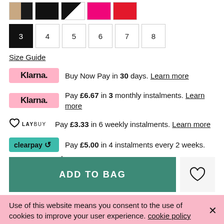[Figure (other): Color swatch selectors: tan/black split, black, black/white split, hot pink, red]
Size options: 3 (selected), 4, 5, 6, 7, 8
Size Guide
Klarna. Buy Now Pay in 30 days. Learn more
Klarna. Pay £6.67 in 3 monthly instalments. Learn more
LAYBUY Pay £3.33 in 6 weekly instalments. Learn more
clearpay Pay £5.00 in 4 instalments every 2 weeks. Learn more
ADD TO BAG
Use of this website means you consent to the use of cookies to improve your user experience. cookie policy